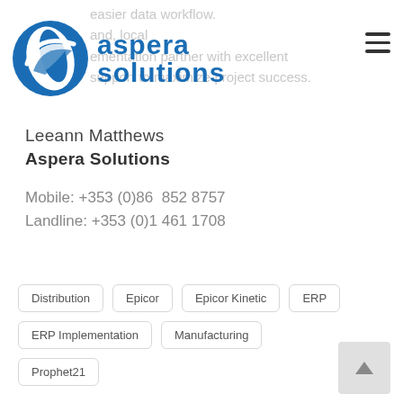[Figure (logo): Aspera Solutions company logo — blue circular swoosh icon with 'aspera solutions' text in blue]
easier data workflow.
and, local
ementation partner with excellent
support to maximize project success.
Leeann Matthews
Aspera Solutions
Mobile: +353 (0)86  852 8757
Landline: +353 (0)1 461 1708
Distribution
Epicor
Epicor Kinetic
ERP
ERP Implementation
Manufacturing
Prophet21